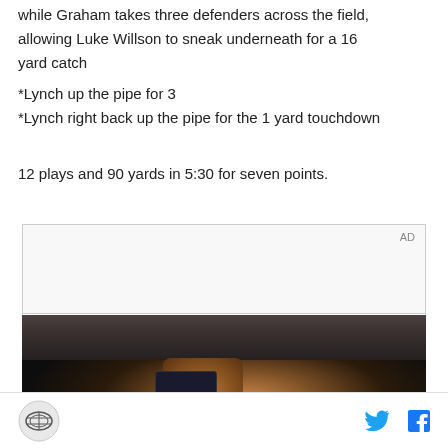while Graham takes three defenders across the field, allowing Luke Willson to sneak underneath for a 16 yard catch
*Lynch up the pipe for 3
*Lynch right back up the pipe for the 1 yard touchdown

12 plays and 90 yards in 5:30 for seven points.
[Figure (other): Advertisement placeholder box with 'AD' label in top right corner, light gray background]
[Figure (photo): Dark interior photo showing a person holding a smartphone, with ceiling visible in background]
Logo icon on left, Twitter and Facebook share icons on right